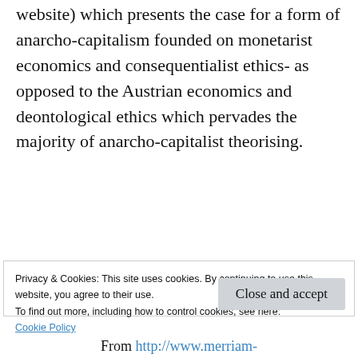website) which presents the case for a form of anarcho-capitalism founded on monetarist economics and consequentialist ethics- as opposed to the Austrian economics and deontological ethics which pervades the majority of anarcho-capitalist theorising.
Reply
Privacy & Cookies: This site uses cookies. By continuing to use this website, you agree to their use.
To find out more, including how to control cookies, see here:
Cookie Policy
Close and accept
From http://www.merriam-